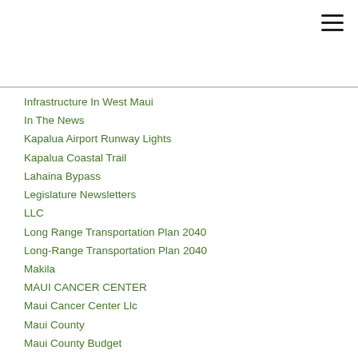Infrastructure In West Maui
In The News
Kapalua Airport Runway Lights
Kapalua Coastal Trail
Lahaina Bypass
Legislature Newsletters
LLC
Long Range Transportation Plan 2040
Long-Range Transportation Plan 2040
Makila
MAUI CANCER CENTER
Maui Cancer Center Llc
Maui County
Maui County Budget
Maui County Dept Of Environmental Management
Maui County - Dept Of Water
Maui Destination Management Plan